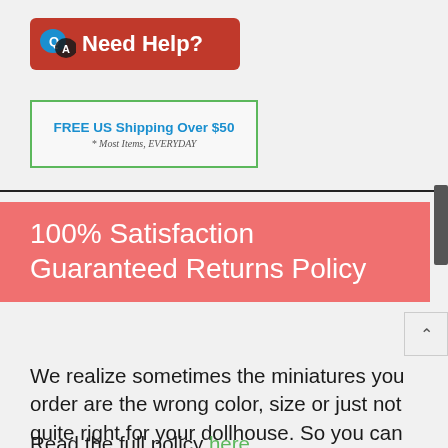[Figure (logo): Red rounded rectangle banner with Q and A speech bubble icons and white text 'Need Help?']
[Figure (infographic): Green-bordered box with blue bold text 'FREE US Shipping Over $50' and italic gray text '* Most Items, EVERYDAY']
100% Satisfaction Guaranteed Returns Policy
We realize sometimes the miniatures you order are the wrong color, size or just not quite right for your dollhouse. So you can return any resalable item to us for for any reason and receive a marysminiatures.net store credit. Read the full policy here